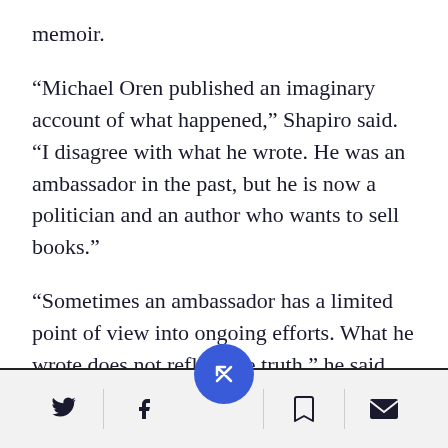memoir.
“Michael Oren published an imaginary account of what happened,” Shapiro said. “I disagree with what he wrote. He was an ambassador in the past, but he is now a politician and an author who wants to sell books.”
“Sometimes an ambassador has a limited point of view into ongoing efforts. What he wrote does not reflect the truth,” he said.
Social sharing toolbar with Twitter, Facebook, bookmark, and email icons